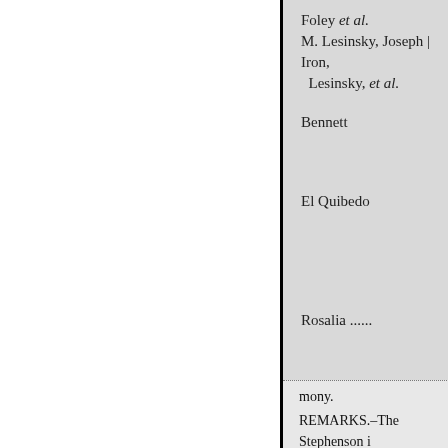| Foley et al. |
| M. Lesinsky, Joseph | Iron, Lesinsky, et al. |
| Bennett |
| El Quibedo |
| Rosalia ...... |
mony.
REMARKS.–The Stephenson i worked successfully for about t suspended, and since that time indication shows that it will pr